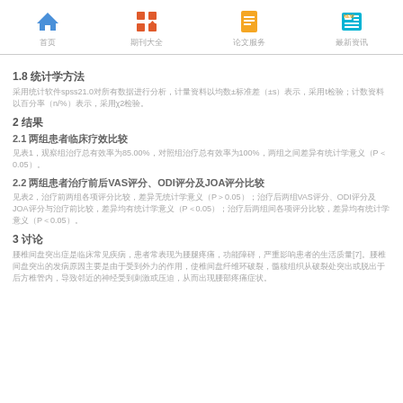首页 | 期刊大全 | 论文服务 | 最新资讯
1.8 统计学方法
采用统计软件spss21.0对所有数据进行分析，计量资料以均数±标准差（±s）表示，采用t检验；计数资料以百分率（n/%）表示，采用χ2检验。
2 结果
2.1 两组患者临床疗效比较
见表1，观察组治疗总有效率为85.00%，对照组治疗总有效率为100%，两组之间差异有统计学意义（P＜0.05）。
2.2 两组患者治疗前后VAS评分、ODI评分及JOA评分比较
见表2，治疗前两组各项评分比较，差异无统计学意义（P＞0.05）；治疗后两组VAS评分、ODI评分及JOA评分与治疗前比较，差异均有统计学意义（P＜0.05）；治疗后两组间各项评分比较，差异均有统计学意义（P＜0.05）。
3 讨论
腰椎间盘突出症是临床常见疾病，患者常表现为腰腿疼痛，功能障碍，严重影响患者的生活质量[7]。腰椎间盘突出的发病原因主要是由于受到外力的作用，使椎间盘纤维环破裂，髓核组织从破裂处突出或脱出于后方椎管内，导致邻近的神经受到刺激或压迫，从而出现腰部疼痛症状。